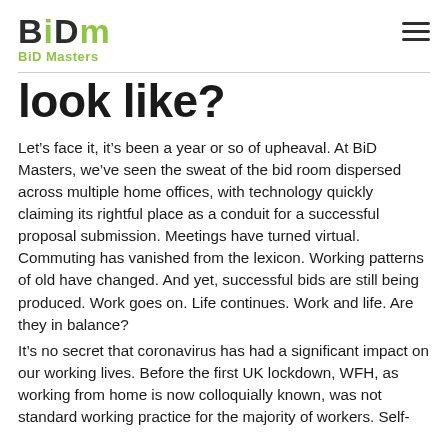BiD Masters
look like?
Let's face it, it's been a year or so of upheaval. At BiD Masters, we've seen the sweat of the bid room dispersed across multiple home offices, with technology quickly claiming its rightful place as a conduit for a successful proposal submission. Meetings have turned virtual. Commuting has vanished from the lexicon. Working patterns of old have changed. And yet, successful bids are still being produced. Work goes on. Life continues. Work and life. Are they in balance?
It's no secret that coronavirus has had a significant impact on our working lives. Before the first UK lockdown, WFH, as working from home is now colloquially known, was not standard working practice for the majority of workers. Self-